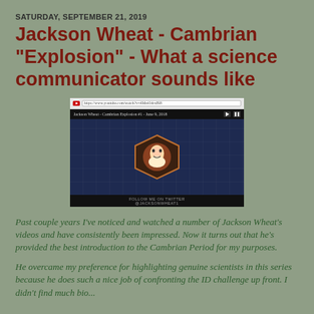SATURDAY, SEPTEMBER 21, 2019
Jackson Wheat - Cambrian "Explosion" - What a science communicator sounds like
[Figure (screenshot): Screenshot of a YouTube video player showing 'Jackson Wheat - Cambrian Explosion #1 - June 9, 2018' with a dark blue background and a circular logo/avatar. Text at bottom reads 'FOLLOW ME ON TWITTER @JACKSONWHEAT1'.]
Past couple years I've noticed and watched a number of Jackson Wheat's videos and have consistently been impressed.  Now it turns out that he's provided the best introduction to the Cambrian Period for my purposes.
He overcame my preference for highlighting genuine scientists in this series because he does such a nice job of confronting the ID challenge up front.  I didn't find much bio...